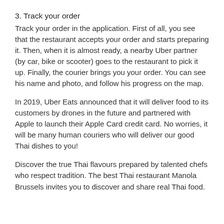3. Track your order
Track your order in the application. First of all, you see that the restaurant accepts your order and starts preparing it. Then, when it is almost ready, a nearby Uber partner (by car, bike or scooter) goes to the restaurant to pick it up. Finally, the courier brings you your order. You can see his name and photo, and follow his progress on the map.
In 2019, Uber Eats announced that it will deliver food to its customers by drones in the future and partnered with Apple to launch their Apple Card credit card. No worries, it will be many human couriers who will deliver our good Thai dishes to you!
Discover the true Thai flavours prepared by talented chefs who respect tradition. The best Thai restaurant Manola Brussels invites you to discover and share real Thai food.